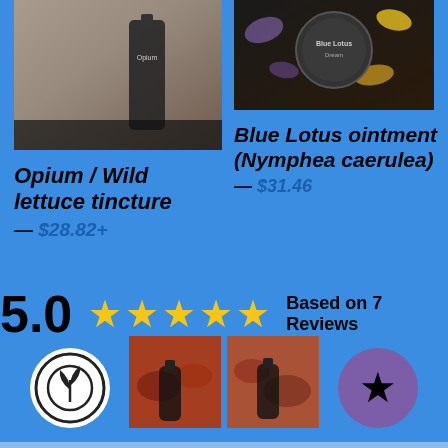[Figure (photo): Product image left: Opium/Wild lettuce tincture bottle on fur background]
[Figure (photo): Product image right: Blue Lotus ointment tin on dark floral background]
Opium / Wild lettuce tincture — $28.82+
Blue Lotus ointment (Nymphea caerulea) — $31.46
5.0 ★★★★★ Based on 7 Reviews
[Figure (logo): White circle badge with seedling/plant logo]
[Figure (photo): Two small product thumbnail photos showing herbal products]
[Figure (other): Purple circle with black star icon (favorite/bookmark button)]